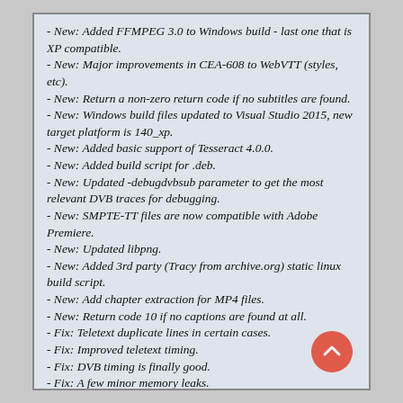- New: Added FFMPEG 3.0 to Windows build - last one that is XP compatible.
- New: Major improvements in CEA-608 to WebVTT (styles, etc).
- New: Return a non-zero return code if no subtitles are found.
- New: Windows build files updated to Visual Studio 2015, new target platform is 140_xp.
- New: Added basic support of Tesseract 4.0.0.
- New: Added build script for .deb.
- New: Updated -debugdvbsub parameter to get the most relevant DVB traces for debugging.
- New: SMPTE-TT files are now compatible with Adobe Premiere.
- New: Updated libpng.
- New: Added 3rd party (Tracy from archive.org) static linux build script.
- New: Add chapter extraction for MP4 files.
- New: Return code 10 if no captions are found at all.
- Fix: Teletext duplicate lines in certain cases.
- Fix: Improved teletext timing.
- Fix: DVB timing is finally good.
- Fix: A few minor memory leaks.
- Fix: tesseract library file included in mac build command.